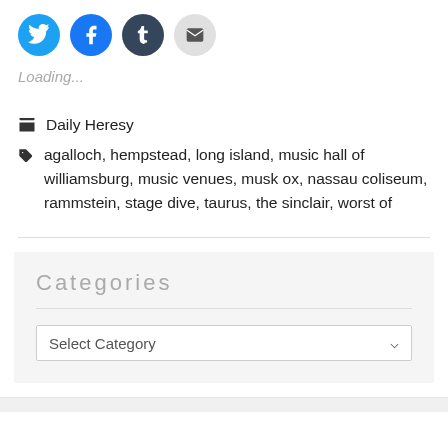[Figure (other): Social share buttons: Twitter (blue circle), Facebook (blue circle), Tumblr (dark blue circle), Email (grey circle with envelope icon)]
Loading...
Daily Heresy
agalloch, hempstead, long island, music hall of williamsburg, music venues, musk ox, nassau coliseum, rammstein, stage dive, taurus, the sinclair, worst of
Categories
Select Category